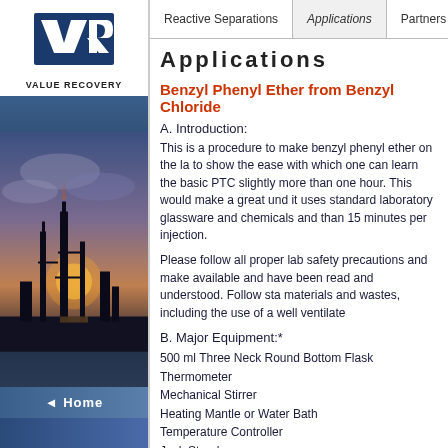[Figure (logo): VALUE RECOVERY logo with VR letters in blue]
[Figure (photo): Industrial facility silhouette at sunset with towers/smokestacks against dramatic sky]
Home
Reactive Separations | Applications | Partners
Applications
Benzyl Phenyl Ether from Benzyl Chloride
A. Introduction:
This is a procedure to make benzyl phenyl ether on the la to show the ease with which one can learn the basic PTC slightly more than one hour. This would make a great und it uses standard laboratory glassware and chemicals and than 15 minutes per injection.
Please follow all proper lab safety precautions and make available and have been read and understood. Follow sta materials and wastes, including the use of a well ventilate
B. Major Equipment:*
500 ml Three Neck Round Bottom Flask
Thermometer
Mechanical Stirrer
Heating Mantle or Water Bath
Temperature Controller
Jack Stand